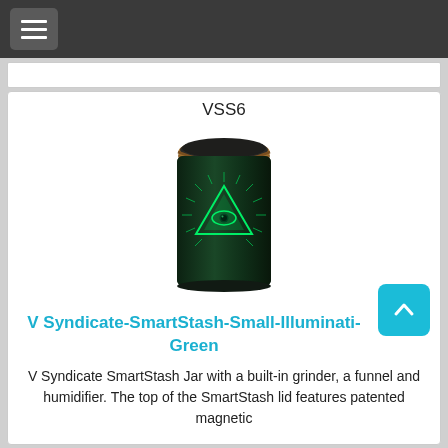☰ (hamburger menu button)
[Figure (photo): Product photo of a V Syndicate SmartStash Small Illuminati Green jar/container. The jar is dark green/black with a glowing green illuminati eye pyramid design on the front. It has a brown/copper-colored round magnetic lid that is slightly open/tilted showing the black interior.]
VSS6
V Syndicate-SmartStash-Small-Illuminati-Green
V Syndicate SmartStash Jar with a built-in grinder, a funnel and humidifier. The top of the SmartStash lid features patented magnetic